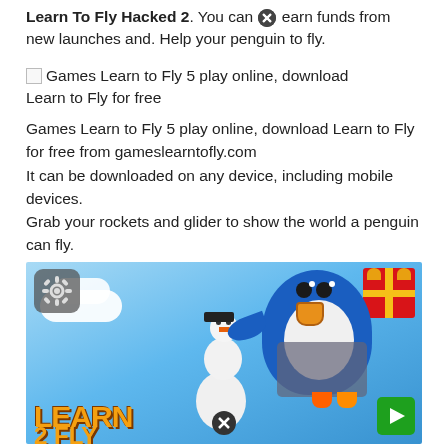Learn To Fly Hacked 2. You can earn funds from new launches and. Help your penguin to fly.
[Figure (illustration): Broken image icon with alt text: Games Learn to Fly 5 play online, download Learn to Fly for free]
Games Learn to Fly 5 play online, download Learn to Fly for free from gameslearntofly.com
It can be downloaded on any device, including mobile devices.
Grab your rockets and glider to show the world a penguin can fly.
Learn to fly 2 hacked unlimited money unblocked.
[Figure (screenshot): Screenshot of Learn 2 Fly game showing a blue penguin with rocket harness flying over a snowy landscape with a snowman, clouds, gear icon top-left, gift box top-right, bold orange Learn 2 Fly logo text at bottom, close button and play button at bottom.]